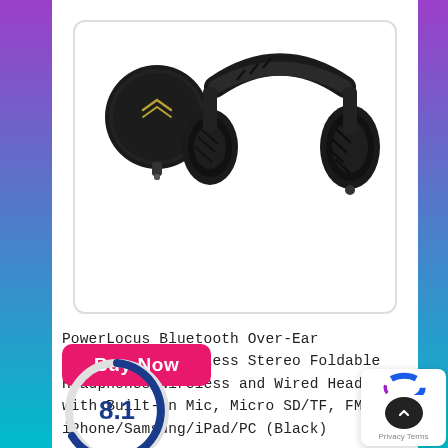[Figure (photo): Black PowerLocus over-ear headphones displayed next to a small round black carrying case with a clip. The headphones are foldable with geometric/herringbone pattern on the ear cups.]
PowerLocus Bluetooth Over-Ear Headphones, Wireless Stereo Foldable Headphones Wireless and Wired Headsets with Built-in Mic, Micro SD/TF, FM for iPhone/Samsung/iPad/PC (Black)
[Figure (other): Pink/magenta 'Buy Now' button with white bold text]
[Figure (other): Partial circular score gauge showing '8.1' in blue/navy arc, partially visible at bottom of page]